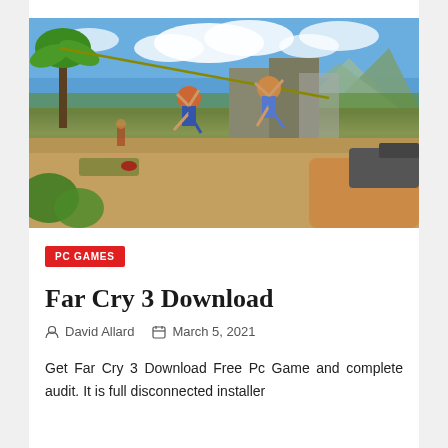[Figure (photo): Far Cry 3 game screenshot showing a first-person perspective combat scene on a tropical island. A player holds a gun at bottom right, while enemies jump and fight in a sandy outdoor area with palm trees, ruins, and a blue sky with clouds in the background.]
PC GAMES
Far Cry 3 Download
David Allard   March 5, 2021
Get Far Cry 3 Download Free Pc Game and complete audit. It is full disconnected installer